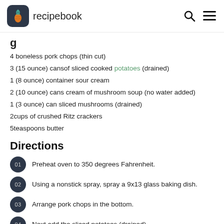recipebook
4 boneless pork chops (thin cut)
3 (15 ounce) cansof sliced cooked potatoes (drained)
1 (8 ounce) container sour cream
2 (10 ounce) cans cream of mushroom soup (no water added)
1 (3 ounce) can sliced mushrooms (drained)
2cups of crushed Ritz crackers
5teaspoons butter
Directions
01 Preheat oven to 350 degrees Fahrenheit.
02 Using a nonstick spray, spray a 9x13 glass baking dish.
03 Arrange pork chops in the bottom.
04 Next add the sliced potatoes (drained).